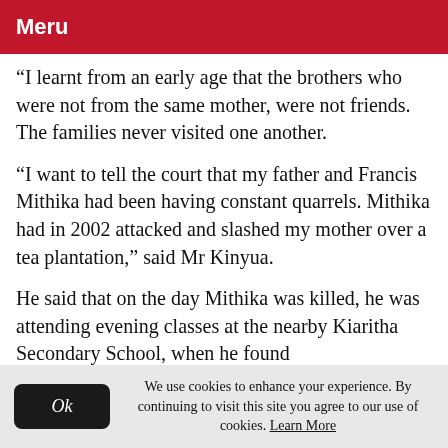Meru
“I learnt from an early age that the brothers who were not from the same mother, were not friends. The families never visited one another.
“I want to tell the court that my father and Francis Mithika had been having constant quarrels. Mithika had in 2002 attacked and slashed my mother over a tea plantation,” said Mr Kinyua.
He said that on the day Mithika was killed, he was attending evening classes at the nearby Kiaritha Secondary School, when he found
We use cookies to enhance your experience. By continuing to visit this site you agree to our use of cookies. Learn More